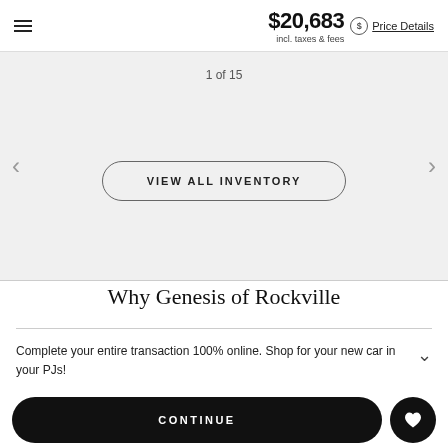$20,683 incl. taxes & fees
Price Details
1 of 15
VIEW ALL INVENTORY
Why Genesis of Rockville
Complete your entire transaction 100% online. Shop for your new car in your PJs!
CONTINUE